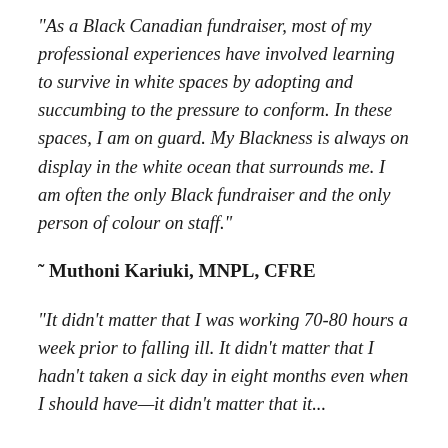“As a Black Canadian fundraiser, most of my professional experiences have involved learning to survive in white spaces by adopting and succumbing to the pressure to conform. In these spaces, I am on guard. My Blackness is always on display in the white ocean that surrounds me. I am often the only Black fundraiser and the only person of colour on staff.”
˜ Muthoni Kariuki, MNPL, CFRE
“It didn’t matter that I was working 70-80 hours a week prior to falling ill. It didn’t matter that I hadn’t taken a sick day in eight months even when I should have—it didn’t matter that it...